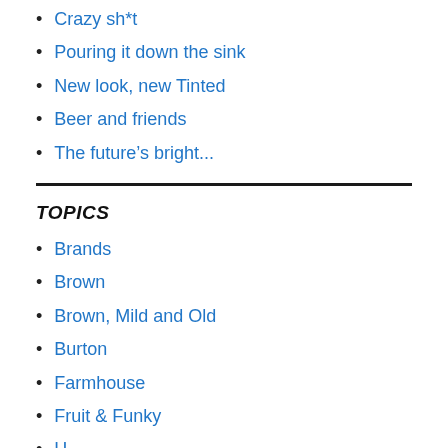Crazy sh*t
Pouring it down the sink
New look, new Tinted
Beer and friends
The future's bright...
TOPICS
Brands
Brown
Brown, Mild and Old
Burton
Farmhouse
Fruit & Funky
H...